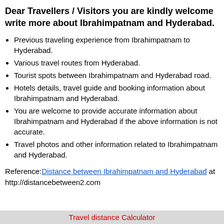Dear Travellers / Visitors you are kindly welcome write more about Ibrahimpatnam and Hyderabad.
Previous traveling experience from Ibrahimpatnam to Hyderabad.
Various travel routes from Hyderabad.
Tourist spots between Ibrahimpatnam and Hyderabad road.
Hotels details, travel guide and booking information about Ibrahimpatnam and Hyderabad.
You are welcome to provide accurate information about Ibrahimpatnam and Hyderabad if the above information is not accurate.
Travel photos and other information related to Ibrahimpatnam and Hyderabad.
Reference: Distance between Ibrahimpatnam and Hyderabad at http://distancebetween2.com
Travel distance Calculator